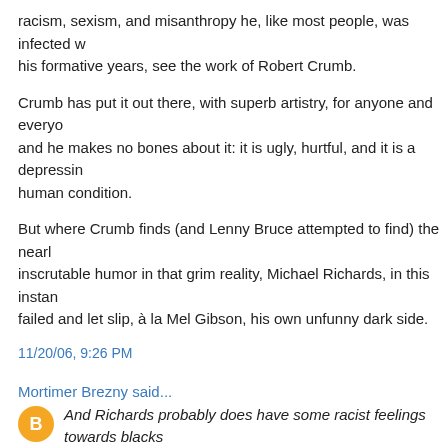racism, sexism, and misanthropy he, like most people, was infected w his formative years, see the work of Robert Crumb.
Crumb has put it out there, with superb artistry, for anyone and everyo and he makes no bones about it: it is ugly, hurtful, and it is a depressin human condition.
But where Crumb finds (and Lenny Bruce attempted to find) the nearl inscrutable humor in that grim reality, Michael Richards, in this instan failed and let slip, à la Mel Gibson, his own unfunny dark side.
11/20/06, 9:26 PM
Mortimer Brezny said...
And Richards probably does have some racist feelings towards blacks whites do, like most people of all races do about other races),
I don't know where this like most people do stuff comes from, but I w call it "projection".
11/20/06, 9:28 PM